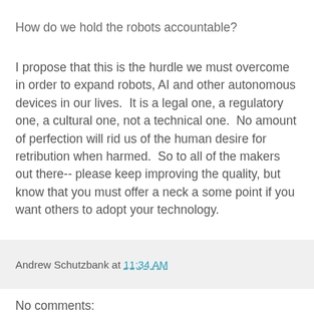How do we hold the robots accountable?
I propose that this is the hurdle we must overcome in order to expand robots, AI and other autonomous devices in our lives.  It is a legal one, a regulatory one, a cultural one, not a technical one.  No amount of perfection will rid us of the human desire for retribution when harmed.  So to all of the makers out there-- please keep improving the quality, but know that you must offer a neck a some point if you want others to adopt your technology.
Andrew Schutzbank at 11:34 AM
No comments: